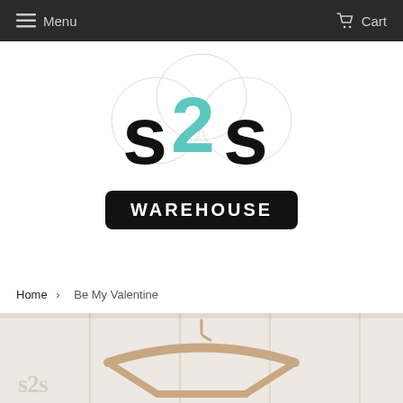Menu  Cart
[Figure (logo): S2S Warehouse logo: large black S and S letters with teal/turquoise 2 in the center, cloud-shaped white badge background, black rectangle below with WAREHOUSE in white bold letters]
Home > Be My Valentine
[Figure (photo): Product photo: a wooden clothes hanger on a white paneled background, with a faint s2s watermark logo in the lower left]